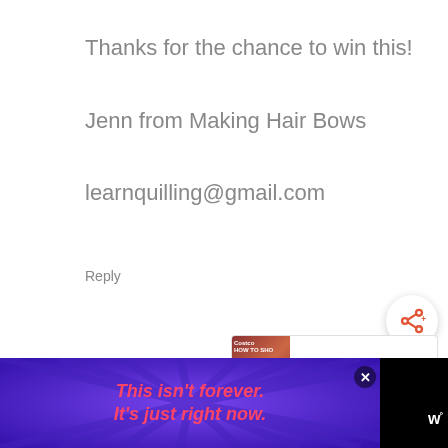Thanks for the chance to win this!
Jenn from Making Hair Bows
learnquilling@gmail.com
Reply
[Figure (screenshot): Share button (circular white button with share icon)]
[Figure (screenshot): What's Next panel showing Costco Online Shopping video thumbnail]
CHERIE SAYS
[Figure (screenshot): Advertisement banner: purple background with rays, text 'This isn’t forever. It’s just right now.' with close button and W logo]